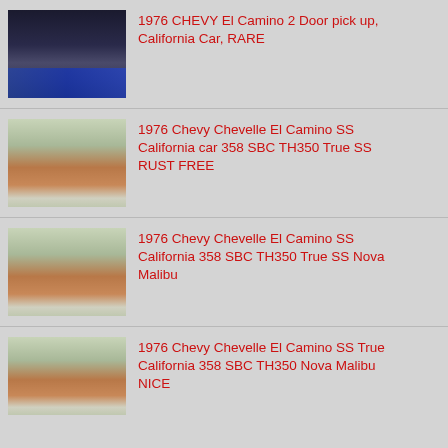1976 CHEVY El Camino 2 Door pick up, California Car, RARE
1976 Chevy Chevelle El Camino SS California car 358 SBC TH350 True SS RUST FREE
1976 Chevy Chevelle El Camino SS California 358 SBC TH350 True SS Nova Malibu
1976 Chevy Chevelle El Camino SS True California 358 SBC TH350 Nova Malibu NICE